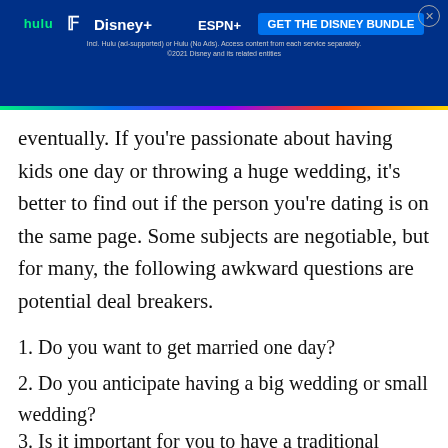[Figure (screenshot): Disney Bundle advertisement banner with Hulu, Disney+, ESPN+ logos and 'GET THE DISNEY BUNDLE' CTA button on blue background]
eventually. If you're passionate about having kids one day or throwing a huge wedding, it's better to find out if the person you're dating is on the same page. Some subjects are negotiable, but for many, the following awkward questions are potential deal breakers.
1. Do you want to get married one day?
2. Do you anticipate having a big wedding or small wedding?
3. Is it important for you to have a traditional